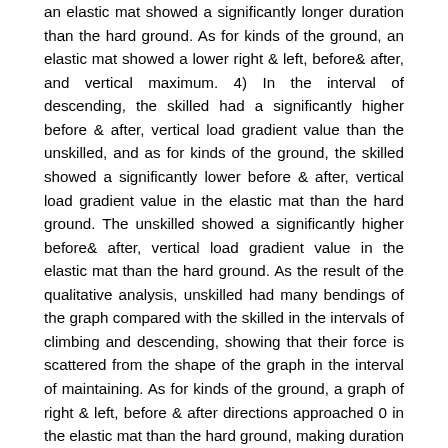an elastic mat showed a significantly longer duration than the hard ground. As for kinds of the ground, an elastic mat showed a lower right & left, before& after, and vertical maximum. 4) In the interval of descending, the skilled had a significantly higher before & after, vertical load gradient value than the unskilled, and as for kinds of the ground, the skilled showed a significantly lower before & after, vertical load gradient value in the elastic mat than the hard ground. The unskilled showed a significantly higher before& after, vertical load gradient value in the elastic mat than the hard ground. As the result of the qualitative analysis, unskilled had many bendings of the graph compared with the skilled in the intervals of climbing and descending, showing that their force is scattered from the shape of the graph in the interval of maintaining. As for kinds of the ground, a graph of right & left, before & after directions approached 0 in the elastic mat than the hard ground, making duration time longer. 5) As for the center of pressure by skills and kinds of the ground, the skilled showed a lower movement value of the right & left direction than the unskilled. As the result of the qualitative analysis, it showed that the skilled had a short right & left movement distance compared with unskilled. Also, movement distance to before & after direction